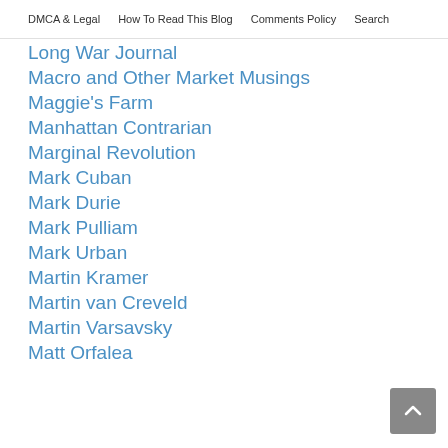DMCA & Legal   How To Read This Blog   Comments Policy   Search
Long War Journal
Macro and Other Market Musings
Maggie's Farm
Manhattan Contrarian
Marginal Revolution
Mark Cuban
Mark Durie
Mark Pulliam
Mark Urban
Martin Kramer
Martin van Creveld
Martin Varsavsky
Matt Orfalea